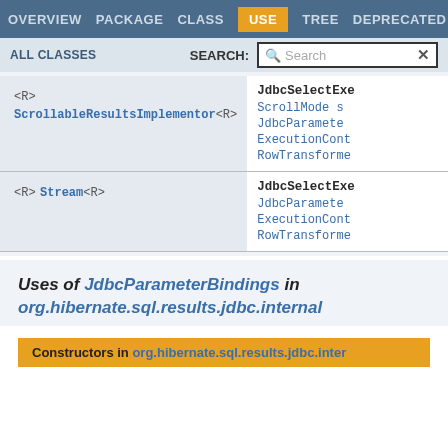OVERVIEW | PACKAGE | CLASS | USE | TREE | DEPRECATED
ALL CLASSES | SEARCH:
| Type | Methods |
| --- | --- |
| <R> ScrollableResultsImplementor<R> | JdbcSelectExe... ScrollMode s... JdbcParameter... ExecutionCont... RowTransforme... |
| <R> Stream<R> | JdbcSelectExe... JdbcParameter... ExecutionCont... RowTransforme... |
Uses of JdbcParameterBindings in org.hibernate.sql.results.jdbc.internal
Constructors in org.hibernate.sql.results.jdbc.inter...